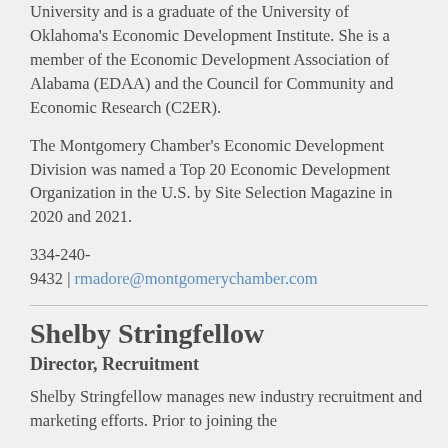University and is a graduate of the University of Oklahoma's Economic Development Institute. She is a member of the Economic Development Association of Alabama (EDAA) and the Council for Community and Economic Research (C2ER).
The Montgomery Chamber's Economic Development Division was named a Top 20 Economic Development Organization in the U.S. by Site Selection Magazine in 2020 and 2021.
334-240-9432 | rmadore@montgomerychamber.com
Shelby Stringfellow
Director, Recruitment
Shelby Stringfellow manages new industry recruitment and marketing efforts. Prior to joining the